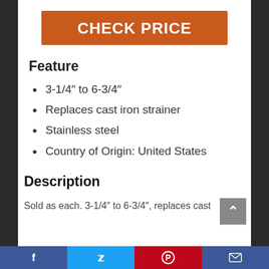CHECK PRICE
Feature
3-1/4″ to 6-3/4″
Replaces cast iron strainer
Stainless steel
Country of Origin: United States
Description
Sold as each. 3-1/4″ to 6-3/4″, replaces cast